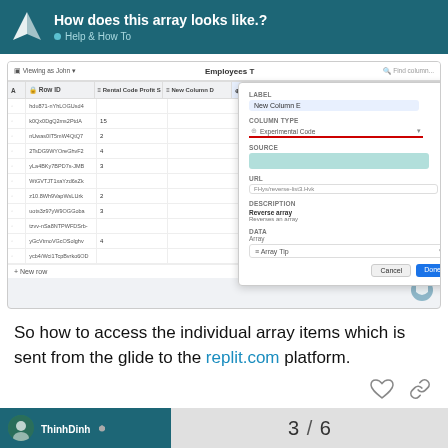How does this array looks like.? • Help & How To
[Figure (screenshot): Screenshot of a spreadsheet application (Glide) showing an Employees table with columns Row ID, Rental Code Profit S, New Column D, total individual do aion, Array Tip, New Column E. A modal dialog is open on the right showing configuration for New Column E with Column Type: Experimental Code, SOURCE, URL field, DESCRIPTION: Reverse array / Reverse as array, DATA: Array with Array Tip dropdown. Cancel and Done buttons at the bottom.]
So how to access the individual array items which is sent from the glide to the replit.com platform.
ThinhDinh  3 / 6